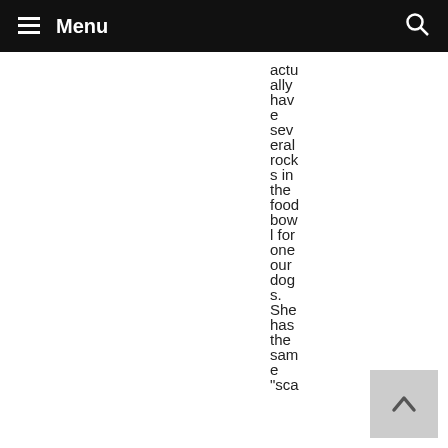Menu
actu
ally
hav
e
sev
eral
rock
s in
the
food
bow
l for
one
our
dog
s.
She
has
the
sam
e
"sca